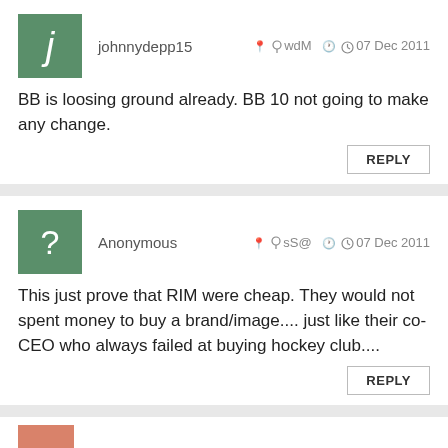johnnydepp15  wdM  07 Dec 2011
BB is loosing ground already. BB 10 not going to make any change.
REPLY
Anonymous  sS@  07 Dec 2011
This just prove that RIM were cheap. They would not spent money to buy a brand/image.... just like their co-CEO who always failed at buying hockey club....
REPLY